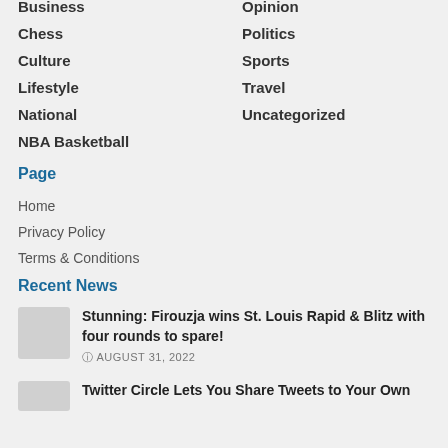Business
Opinion
Chess
Politics
Culture
Sports
Lifestyle
Travel
National
Uncategorized
NBA Basketball
Page
Home
Privacy Policy
Terms & Conditions
Recent News
Stunning: Firouzja wins St. Louis Rapid & Blitz with four rounds to spare!
AUGUST 31, 2022
Twitter Circle Lets You Share Tweets to Your Own